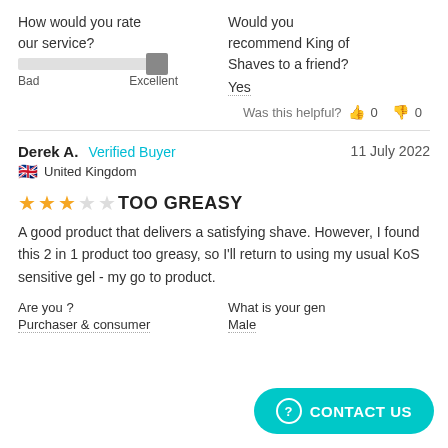How would you rate our service?
[Figure (other): A horizontal slider bar showing service rating, positioned near the 'Excellent' end]
Bad   Excellent
Would you recommend King of Shaves to a friend?
Yes
Was this helpful?  👍 0  👎 0
Derek A.  Verified Buyer   11 July 2022
🇬🇧 United Kingdom
★★★☆☆  TOO GREASY
A good product that delivers a satisfying shave. However, I found this 2 in 1 product too greasy, so I'll return to using my usual KoS sensitive gel - my go to product.
Are you ?
Purchaser & consumer
What is your gen
Male